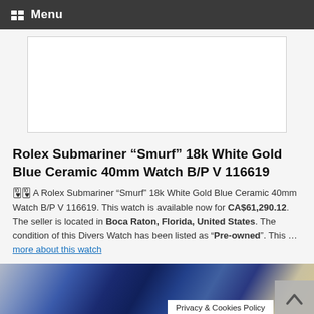Menu
[Figure (other): Advertisement placeholder white box]
Rolex Submariner “Smurf” 18k White Gold Blue Ceramic 40mm Watch B/P V 116619
A Rolex Submariner “Smurf” 18k White Gold Blue Ceramic 40mm Watch B/P V 116619. This watch is available now for CA$61,290.12. The seller is located in Boca Raton, Florida, United States. The condition of this Divers Watch has been listed as “Pre-owned”. This … more about this watch
[Figure (photo): Close-up photo of Rolex Submariner Smurf watch with blue ceramic bezel and diamond details, with Privacy & Cookies Policy banner overlay and scroll-to-top button]